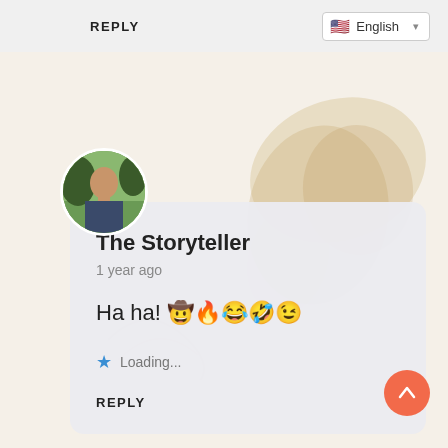REPLY
English
[Figure (photo): Circular avatar photo of a person outdoors]
The Storyteller
1 year ago
Ha ha! 🤠🔥😂🤣😉
⭐ Loading...
REPLY